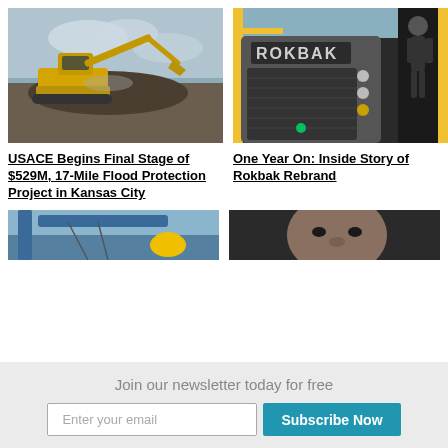[Figure (photo): Excavator working on an earthmoving project under a cloudy sky at dusk]
[Figure (photo): Close-up of a Rokbak branded truck/hauler front grille with a person standing on it]
USACE Begins Final Stage of $529M, 17-Mile Flood Protection Project in Kansas City
One Year On: Inside Story of Rokbak Rebrand
[Figure (photo): Partial view of a crane or construction equipment with yellow elements]
[Figure (photo): Partial view of a person's face in dark lighting]
Join our newsletter today for free